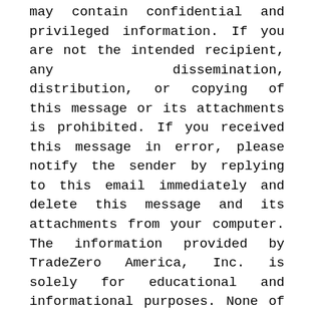may contain confidential and privileged information. If you are not the intended recipient, any dissemination, distribution, or copying of this message or its attachments is prohibited. If you received this message in error, please notify the sender by replying to this email immediately and delete this message and its attachments from your computer. The information provided by TradeZero America, Inc. is solely for educational and informational purposes. None of the information should be understood, construed or inferred to be an offer or solicitation of an offer, or a recommendation, to buy, sell, or hold any security or financial product, or engage in any particular investment strategy. This message is also not an offer to provide advisory or other services by TradeZero America, Inc. All communications sent to from TradeZero America, Inc. are subject to